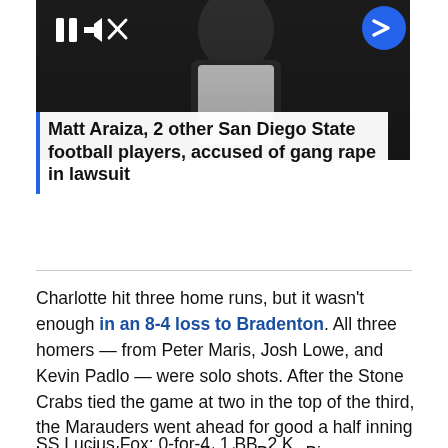[Figure (screenshot): Video player screenshot showing a person in a white shirt. Controls include pause button and mute icon on left, blue circular arrow/next button on right.]
Matt Araiza, 2 other San Diego State football players, accused of gang rape in lawsuit
Charlotte hit three home runs, but it wasn't enough in an 8-4 loss to Bradenton. All three homers — from Peter Maris, Josh Lowe, and Kevin Padlo — were solo shots. After the Stone Crabs tied the game at two in the top of the third, the Marauders went ahead for good a half inning later with three runs. Starter Blake Bivens allowed two runs in an inning, and all four Charlotte pitchers allowed at least a run.
SS Lucius Fox: 0-for-4, 1 BB, 2 K